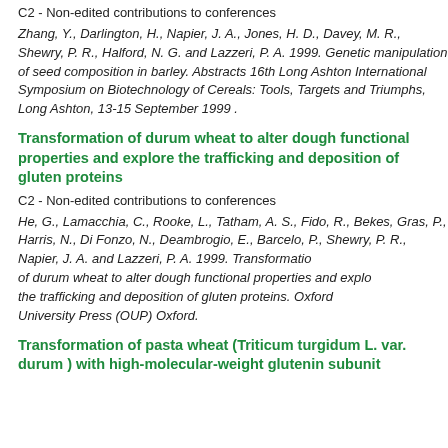C2 - Non-edited contributions to conferences
Zhang, Y., Darlington, H., Napier, J. A., Jones, H. D., Davey, M. R., Shewry, P. R., Halford, N. G. and Lazzeri, P. A. 1999. Genetic manipulation of seed composition in barley. Abstracts 16th Long Ashton International Symposium on Biotechnology of Cereals: Tools, Targets and Triumphs, Long Ashton, 13-15 September 1999 .
Transformation of durum wheat to alter dough functional properties and explore the trafficking and deposition of gluten proteins
C2 - Non-edited contributions to conferences
He, G., Lamacchia, C., Rooke, L., Tatham, A. S., Fido, R., Bekes, F., Gras, P., Harris, N., Di Fonzo, N., Deambrogio, E., Barcelo, P., Shewry, P. R., Napier, J. A. and Lazzeri, P. A. 1999. Transformation of durum wheat to alter dough functional properties and explore the trafficking and deposition of gluten proteins. Oxford University Press (OUP) Oxford.
Transformation of pasta wheat (Triticum turgidum L. var. durum ) with high-molecular-weight glutenin subunit